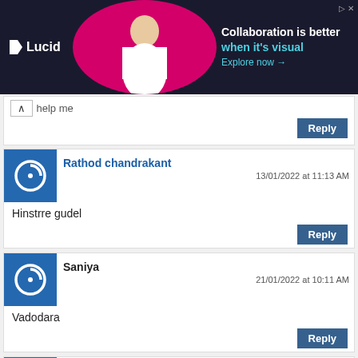[Figure (screenshot): Lucid advertisement banner with dark background showing 'Collaboration is better when it's visual' with 'Explore now' CTA]
help me
Reply
Rathod chandrakant
13/01/2022 at 11:13 AM
Hinstrre gudel
Reply
Saniya
21/01/2022 at 10:11 AM
Vadodara
Reply
Laljibhai mangabhai Makvana
10/02/2022 at 12:00 AM